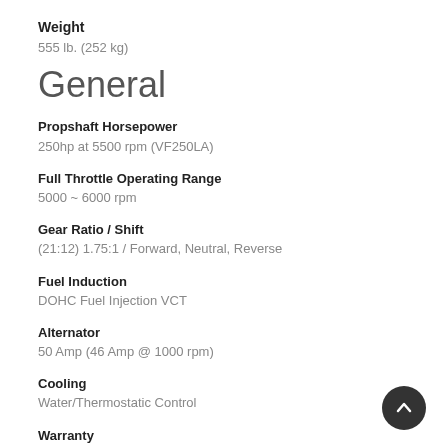Weight
555 lb. (252 kg)
General
Propshaft Horsepower
250hp at 5500 rpm (VF250LA)
Full Throttle Operating Range
5000 ~ 6000 rpm
Gear Ratio / Shift
(21:12) 1.75:1 / Forward, Neutral, Reverse
Fuel Induction
DOHC Fuel Injection VCT
Alternator
50 Amp (46 Amp @ 1000 rpm)
Cooling
Water/Thermostatic Control
Warranty